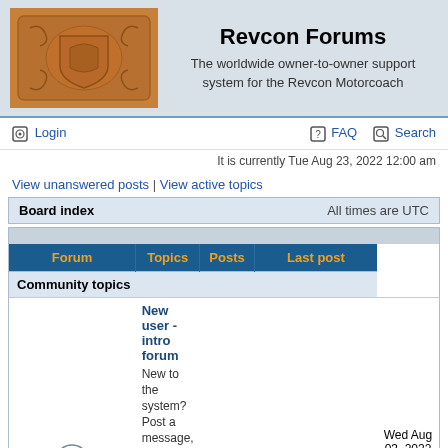Revcon Forums - The worldwide owner-to-owner support system for the Revcon Motorcoach
Login | FAQ | Search
It is currently Tue Aug 23, 2022 12:00 am
View unanswered posts | View active topics
| Forum | Topics | Posts | Last post |
| --- | --- | --- | --- |
| Community topics |  |  |  |
| New user - intro forum
New to the system? Post a message, say hello, tell us a little bit about you and your coach. We're happy to see you here! | 55 | 295 | Wed Aug 03, 2022 2:29 am
Daveinet |